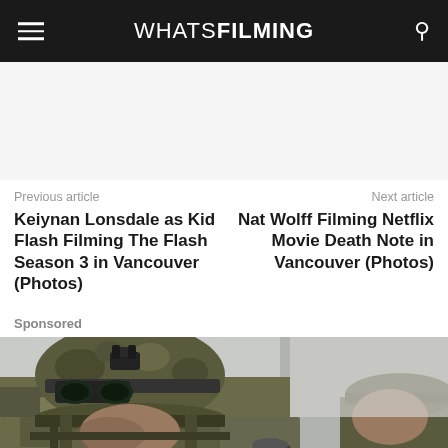WHATSFILMING
[Figure (other): Advertisement / banner area (white/light gray empty ad slot)]
Previous article
Keiynan Lonsdale as Kid Flash Filming The Flash Season 3 in Vancouver (Photos)
Next article
Nat Wolff Filming Netflix Movie Death Note in Vancouver (Photos)
Sponsored
[Figure (photo): A soldier wearing camouflage gear and a tactical helmet with goggles, partially visible, against a light background. Another figure in camouflage cap visible on the right edge.]